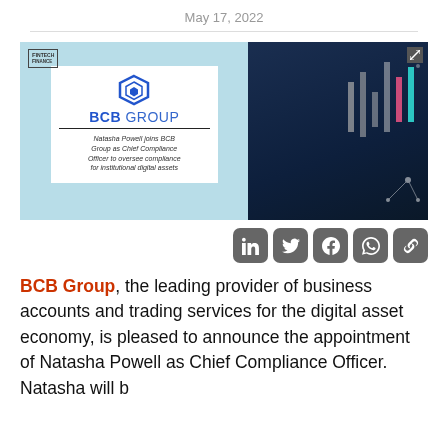May 17, 2022
[Figure (illustration): BCB Group promotional banner. Left side has light blue background with white card showing BCB Group hexagon logo, bold blue BCB GROUP text, horizontal divider, and italic text: 'Natasha Powell joins BCB Group as Chief Compliance Officer to oversee compliance for institutional digital assets'. Right side shows dark blue background with financial chart graphics and a hand. Top left has Fintech Finance logo. Top right has expand icon.]
[Figure (other): Social sharing buttons row: LinkedIn, Twitter, Facebook, WhatsApp, Link icons — dark grey rounded square buttons.]
BCB Group, the leading provider of business accounts and trading services for the digital asset economy, is pleased to announce the appointment of Natasha Powell as Chief Compliance Officer. Natasha will b...